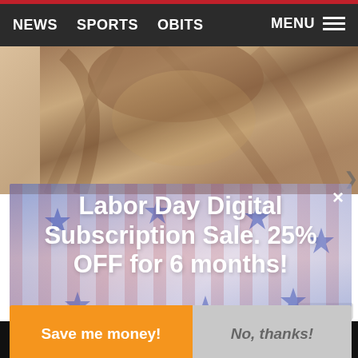NEWS   SPORTS   OBITS                    MENU ≡
[Figure (photo): Sepia-toned background photo showing a person with flowing hair]
Labor Day Digital Subscription Sale. 25% OFF for 6 months!
Save me money!   No, thanks!
WITH...
+ AddThis